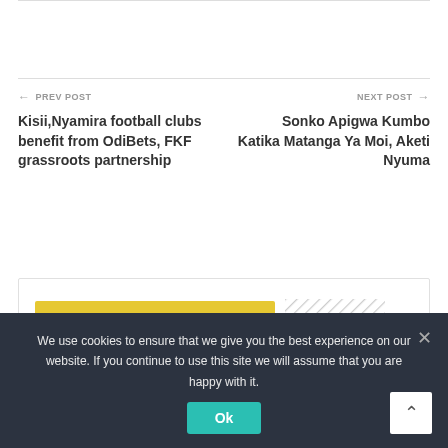← PREV POST
Kisii,Nyamira football clubs benefit from OdiBets, FKF grassroots partnership
NEXT POST →
Sonko Apigwa Kumbo Katika Matanga Ya Moi, Aketi Nyuma
You Might Also Like
We use cookies to ensure that we give you the best experience on our website. If you continue to use this site we will assume that you are happy with it.
Ok